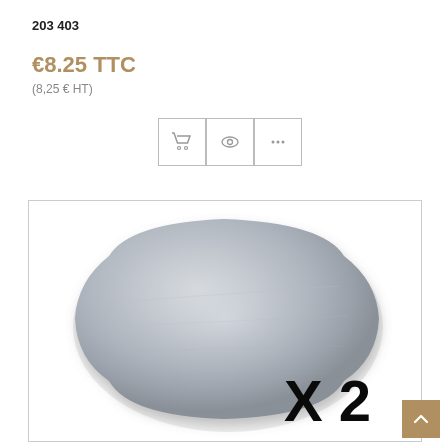203 403
€8.25 TTC
(8,25 € HT)
[Figure (screenshot): Three icon buttons: shopping cart, eye/view, and three dots (more options)]
[Figure (photo): A round flat metallic disc (silver/grey colored) shown at an angle. Text 'X 2' overlaid in bottom right corner indicating quantity of 2.]